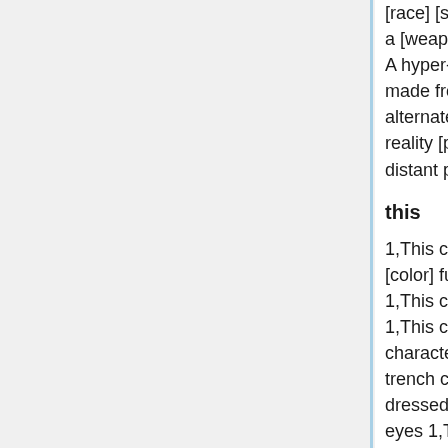[race] [sex] [power]. 1, A [sex] from the far future with a [weapon] 1, A female [trait] [job] with a [weapon]. 1, A hyper-evolved [animal] with a [weapon] 1, A golem made from [material] [power] 1, A [sex] from an alternate reality [power] 1, A [job] from an alternate reality [power] 2, [main] [this]. 1, A [sex] from the distant past [power]
this
1,This character has a ponytail 1,This character has [color] fur 1,This character refuses to wear a costume 1,This character doesn't wear a whole lot of clothes 1,This character wears a Buisness Suit 1,This character wears a Tuexedo 1,This character wears a trench coat over their costume 1,this character is dressed like an [animal] 1,This character has glowing eyes 1,This